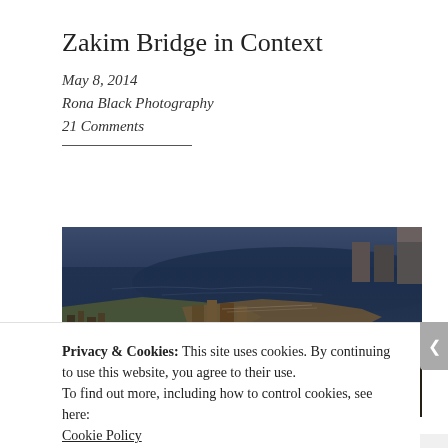Zakim Bridge in Context
May 8, 2014
Rona Black Photography
21 Comments
[Figure (photo): Aerial photograph of Boston harbor and city waterfront area, showing the Zakim Bridge in context with surrounding urban landscape, water, and buildings. Wide panoramic view from above.]
Privacy & Cookies: This site uses cookies. By continuing to use this website, you agree to their use.
To find out more, including how to control cookies, see here: Cookie Policy
Close and accept